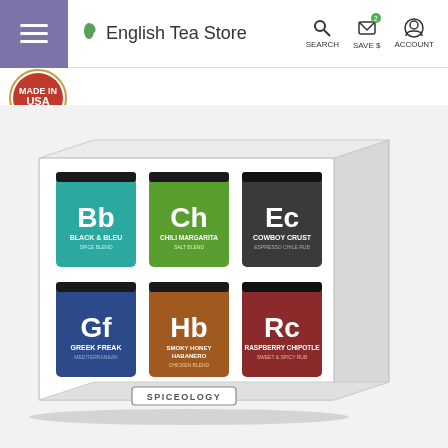[Figure (screenshot): English Tea Store website header with hamburger menu, logo, search, save$ and account icons]
[Figure (logo): Made in USA America circular badge logo]
[Figure (photo): Spiceology 6-pack spice gift set in white box showing: Black & Bleu (Bb), Chili Margarita (Ch), Cowboy Crust (Ec), Greek Freak (Gf), Smoky Honey Habanero (Hb), Raspberry Chipotle (Rc) jars arranged in periodic table element style labels]